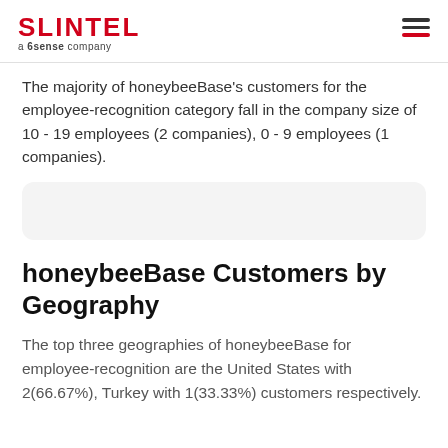SLINTEL a 6sense company
The majority of honeybeeBase's customers for the employee-recognition category fall in the company size of 10 - 19 employees (2 companies), 0 - 9 employees (1 companies).
[Figure (other): Empty light grey rounded card placeholder]
honeybeeBase Customers by Geography
The top three geographies of honeybeeBase for employee-recognition are the United States with 2(66.67%), Turkey with 1(33.33%) customers respectively.